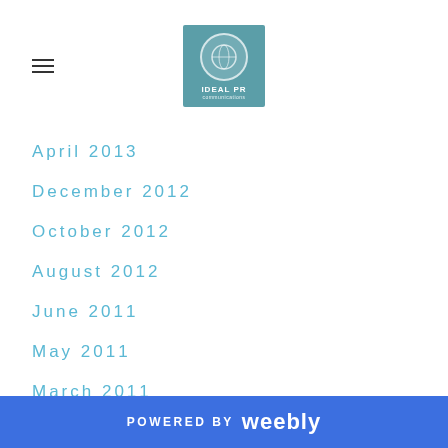IDEAL PR logo header with hamburger menu
April 2013
December 2012
October 2012
August 2012
June 2011
May 2011
March 2011
February 2011
January 2011
December 2010
October 2010
POWERED BY weebly